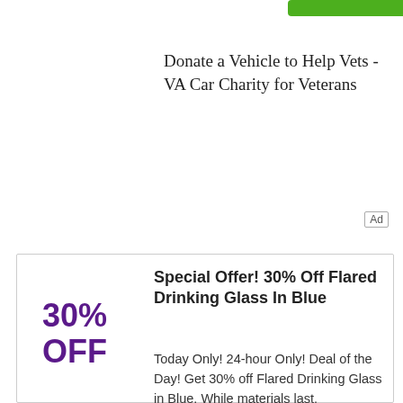[Figure (other): Green rounded button/bar at top of page]
Donate a Vehicle to Help Vets - VA Car Charity for Veterans
Ad
Special Offer! 30% Off Flared Drinking Glass In Blue
30%
OFF
Today Only! 24-hour Only! Deal of the Day! Get 30% off Flared Drinking Glass in Blue. While materials last.